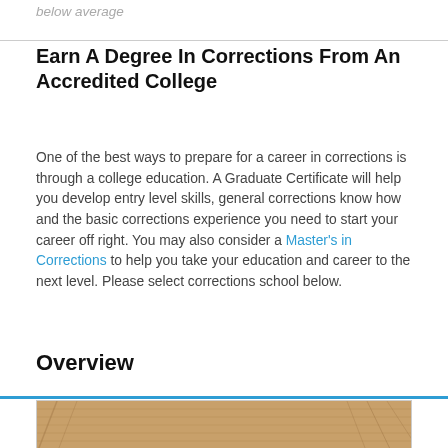below average
Earn A Degree In Corrections From An Accredited College
One of the best ways to prepare for a career in corrections is through a college education. A Graduate Certificate will help you develop entry level skills, general corrections know how and the basic corrections experience you need to start your career off right. You may also consider a Master's in Corrections to help you take your education and career to the next level. Please select corrections school below.
Overview
[Figure (photo): Photograph of a wooden surface or ceiling with diagonal lines, partial view of a person or structure at the edges.]